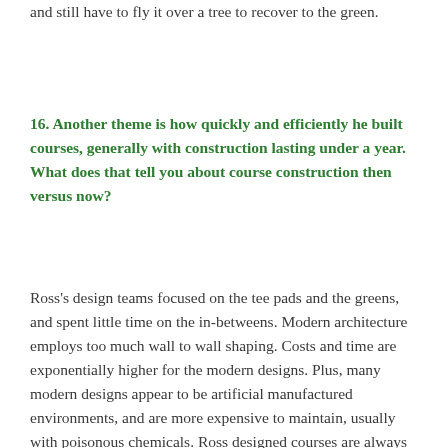and still have to fly it over a tree to recover to the green.
16. Another theme is how quickly and efficiently he built courses, generally with construction lasting under a year. What does that tell you about course construction then versus now?
Ross's design teams focused on the tee pads and the greens, and spent little time on the in-betweens. Modern architecture employs too much wall to wall shaping. Costs and time are exponentially higher for the modern designs. Plus, many modern designs appear to be artificial manufactured environments, and are more expensive to maintain, usually with poisonous chemicals. Ross designed courses are always connected to nature,